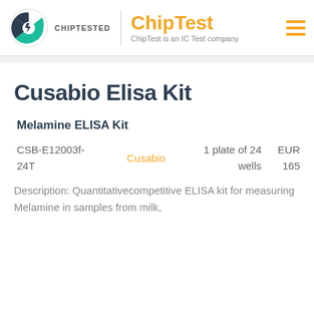CHIPTESTED | ChipTest — ChipTest is an IC Test company
Cusabio Elisa Kit
Melamine ELISA Kit
| Product ID | Brand | Size | Price |
| --- | --- | --- | --- |
| CSB-E12003f-24T | Cusabio | 1 plate of 24 wells | EUR 165 |
Description: Quantitativecompetitive ELISA kit for measuring Melamine in samples from milk,